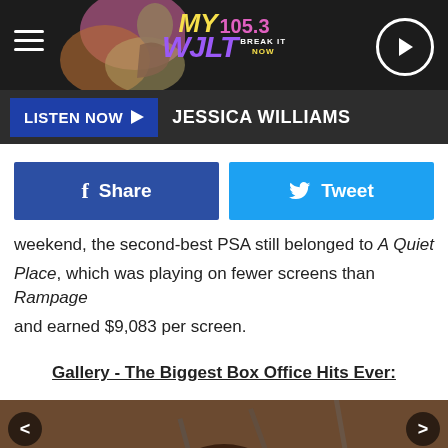MY 105.3 WJLT - LISTEN NOW - JESSICA WILLIAMS
weekend, the second-best PSA still belonged to A Quiet Place, which was playing on fewer screens than Rampage and earned $9,083 per screen.
Gallery - The Biggest Box Office Hits Ever:
[Figure (photo): Young man in red Spider-Man costume, brown hair, looking upward, photographed against a grey concrete background]